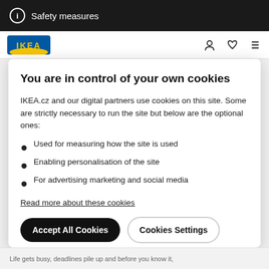Safety measures
[Figure (logo): IKEA logo — blue rectangle with yellow IKEA text. Navigation bar with person, cart, heart, and menu icons.]
You are in control of your own cookies
IKEA.cz and our digital partners use cookies on this site. Some are strictly necessary to run the site but below are the optional ones:
Used for measuring how the site is used
Enabling personalisation of the site
For advertising marketing and social media
Read more about these cookies
Accept All Cookies    Cookies Settings
Life gets busy, deadlines pile up and before you know it, …